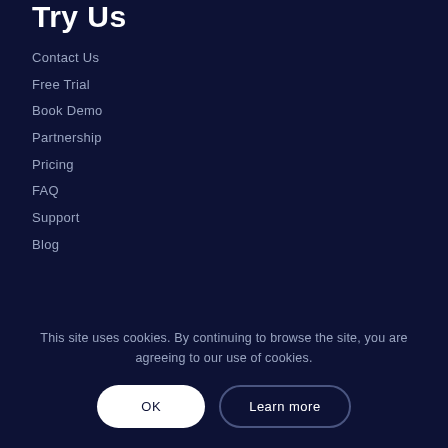Try Us
Contact Us
Free Trial
Book Demo
Partnership
Pricing
FAQ
Support
Blog
[Figure (other): Language selector dropdown showing UK flag and English text with arrow]
This site uses cookies. By continuing to browse the site, you are agreeing to our use of cookies.
OK
Learn more